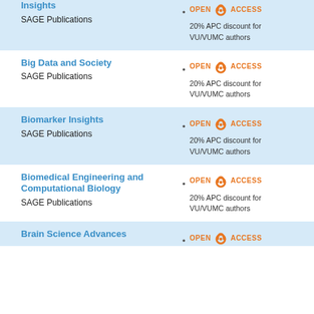Insights
SAGE Publications
• OPEN ACCESS
20% APC discount for VU/VUMC authors
Big Data and Society
SAGE Publications
• OPEN ACCESS
20% APC discount for VU/VUMC authors
Biomarker Insights
SAGE Publications
• OPEN ACCESS
20% APC discount for VU/VUMC authors
Biomedical Engineering and Computational Biology
SAGE Publications
• OPEN ACCESS
20% APC discount for VU/VUMC authors
Brain Science Advances
• OPEN ACCESS